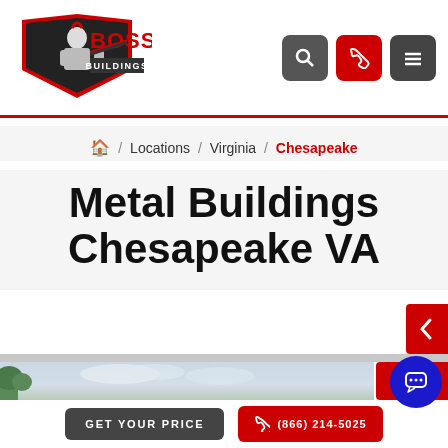[Figure (logo): Boss Buildings logo with armored warrior mascot and red/black text]
Home / Locations / Virginia / Chesapeake
Metal Buildings Chesapeake VA
[Figure (photo): Outdoor photo with trees and cloudy sky background]
GET YOUR PRICE
(866) 214-5025